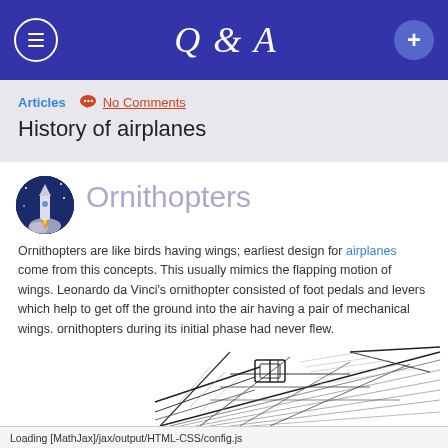Q & A
Articles   No Comments
History of airplanes
Ornithopters
Ornithopters are like birds having wings; earliest design for airplanes come from this concepts. This usually mimics the flapping motion of wings. Leonardo da Vinci's ornithopter consisted of foot pedals and levers which help to get off the ground into the air having a pair of mechanical wings. ornithopters during its initial phase had never flew.
[Figure (illustration): Sketch/drawing of an ornithopter mechanical wing device, black ink line drawing]
Loading [MathJax]/jax/output/HTML-CSS/config.js